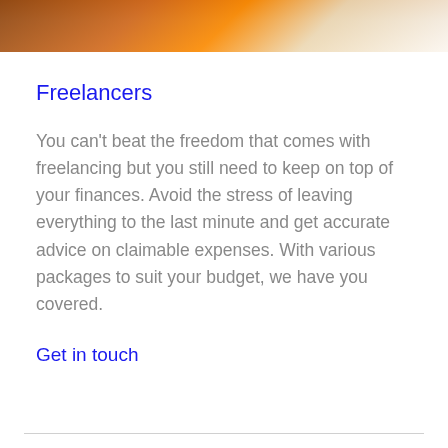[Figure (photo): Partial photo strip at the top of the page showing a person in orange clothing, cropped at the bottom]
Freelancers
You can't beat the freedom that comes with freelancing but you still need to keep on top of your finances. Avoid the stress of leaving everything to the last minute and get accurate advice on claimable expenses. With various packages to suit your budget, we have you covered.
Get in touch